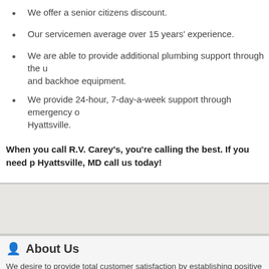We offer a senior citizens discount.
Our servicemen average over 15 years' experience.
We are able to provide additional plumbing support through the u and backhoe equipment.
We provide 24-hour, 7-day-a-week support through emergency o Hyattsville.
When you call R.V. Carey’s, you’re calling the best. If you need p Hyattsville, MD call us today!
About Us
We desire to provide total customer satisfaction by establishing positive wo relationships with each customer through organization, high quality, a profe attitude, and guaranteed workmanship, and maintaining that relationship by encouraging customer participation in design, arriving on time, keeping the informed, staying on budget and on schedule, and by having honesty, open integrity with every customer we have.